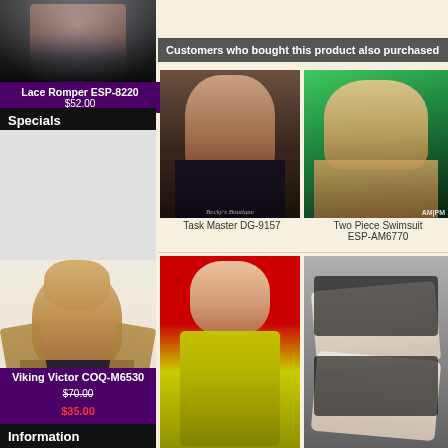[Figure (photo): Model wearing Lace Romper product photo]
Lace Romper ESP-8220
$52.00
Specials
[Figure (photo): Male model wearing Viking Victor costume, fur vest and bell-bottom jeans, Becky's Boutique watermark]
Viking Victor COQ-M6530
$70.00
$35.00
Information
Customers who bought this product also purchased
[Figure (photo): Task Master DG-9157 product photo - model in black lace-up dress, Dreamgirl/Becky's Boutique watermark]
Task Master DG-9157
[Figure (photo): Two Piece Swimsuit ESP-AM6770 product photo - blonde model in brown bikini by pool, AMPM watermark]
Two Piece Swimsuit ESP-AM6770
[Figure (photo): Yellow mesh mini dress product photo - model on red background]
[Figure (photo): Black lace fingerless glove product photo on grey background]